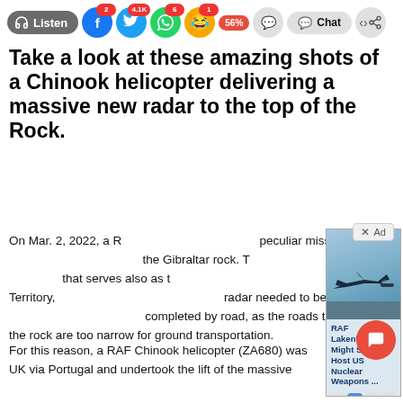[Figure (screenshot): Toolbar with Listen button, social media share buttons (Facebook 2, Twitter 4.1K, WhatsApp 6, emoji 1, 56%), comment button, Chat button, and share button]
Take a look at these amazing shots of a Chinook helicopter delivering a massive new radar to the top of the Rock.
On Mar. 2, 2022, a RAF Chinook carried out a peculiar mission when it delivered a new radar to the Gibraltar rock. The Rock of Gibraltar is a headland that serves also as the main landmark of the British Overseas Territory, with the same name. The new radar needed to be transported by air since it couldn't be completed by road, as the roads to the top of the rock are too narrow for ground transportation.
[Figure (screenshot): Ad overlay showing an F-35 jet with headline 'RAF Lakenheath Might Soon Host US Nuclear Weapons ...' with Read More button and media controls]
For this reason, a RAF Chinook helicopter (ZA680) was flown from the UK via Portugal and undertook the lift of the massive